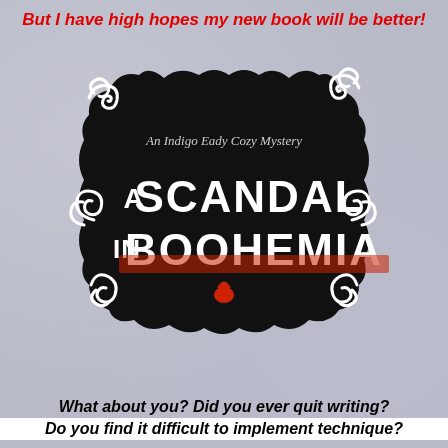But I have high hopes my new book will be better!
[Figure (illustration): Book cover for 'A Scandal in Boohemia' - An Indigo Eady Cozy Mystery. Black rectangular badge shape with decorative swirl ornaments at the corners. White text reads 'An Indigo Eady Cozy Mystery' at the top, then large white text 'A SCANDAL IN BOOHEMIA' with a red blood drop at the bottom center.]
What about you? Did you ever quit writing? Do you find it difficult to implement technique?